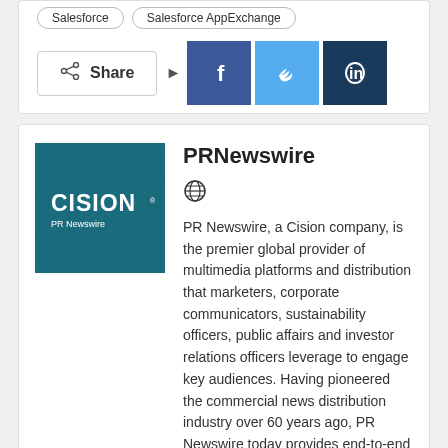Salesforce
Salesforce AppExchange
[Figure (infographic): Share section with social media buttons: Facebook, Twitter, LinkedIn]
[Figure (logo): Cision PR Newswire logo — teal background with geometric lines, CISION in white, PR Newswire below]
PRNewswire
PR Newswire, a Cision company, is the premier global provider of multimedia platforms and distribution that marketers, corporate communicators, sustainability officers, public affairs and investor relations officers leverage to engage key audiences. Having pioneered the commercial news distribution industry over 60 years ago, PR Newswire today provides end-to-end solutions to produce, optimize and target content -- and then distribute and measure